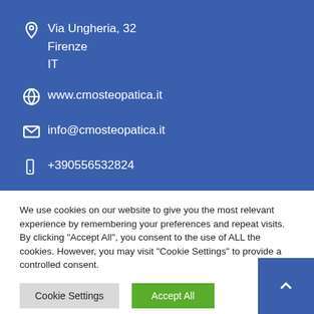Via Ungheria, 32
Firenze
IT
www.cmosteopatica.it
info@cmosteopatica.it
+390556532824
CMO
We use cookies on our website to give you the most relevant experience by remembering your preferences and repeat visits. By clicking "Accept All", you consent to the use of ALL the cookies. However, you may visit "Cookie Settings" to provide a controlled consent.
Cookie Settings
Accept All